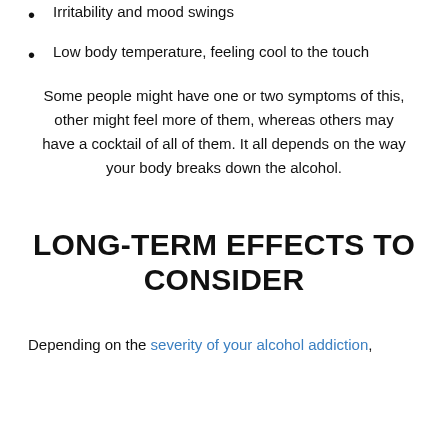Irritability and mood swings
Low body temperature, feeling cool to the touch
Some people might have one or two symptoms of this, other might feel more of them, whereas others may have a cocktail of all of them. It all depends on the way your body breaks down the alcohol.
LONG-TERM EFFECTS TO CONSIDER
Depending on the severity of your alcohol addiction,